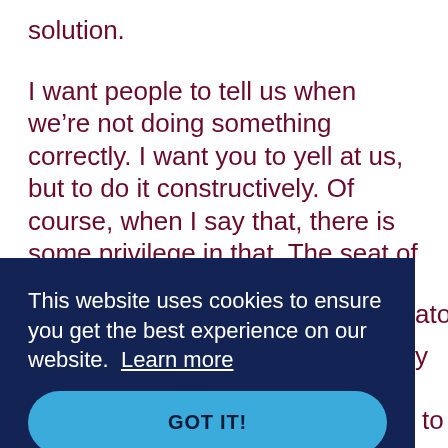solution.

I want people to tell us when we're not doing something correctly. I want you to yell at us, but to do it constructively. Of course, when I say that, there is some privilege in that. The seat of power in architecture and planning is primarily a white community. I understand that there's a lot of privilege and supremacy in those types of
[Figure (screenshot): Cookie consent banner overlay on dark navy background. Text reads: 'This website uses cookies to ensure you get the best experience on our website. Learn more' with a 'GOT IT!' button in blue.]
relationship between community engagement,